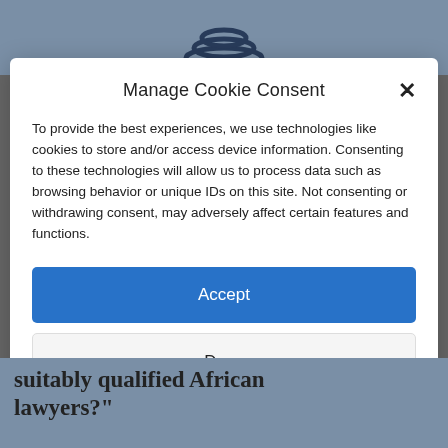[Figure (screenshot): Background website header with circular logo/icon on gray-blue background]
Manage Cookie Consent
To provide the best experiences, we use technologies like cookies to store and/or access device information. Consenting to these technologies will allow us to process data such as browsing behavior or unique IDs on this site. Not consenting or withdrawing consent, may adversely affect certain features and functions.
Accept
Deny
View preferences
suitably qualified African lawyers?"